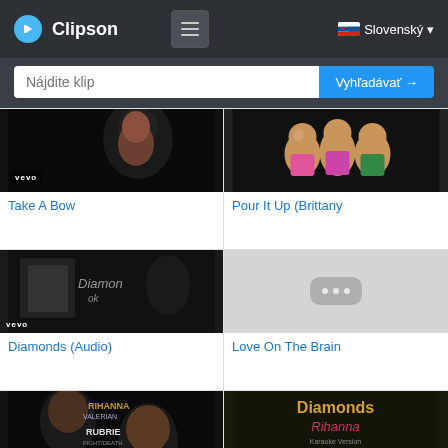Clipson — Slovenský — navigation header with search bar: Nájdite klip / Vyhľadávať →
[Figure (screenshot): Thumbnail of Rihanna music video (Take A Bow) with vevo logo]
Take A Bow
[Figure (screenshot): Thumbnail of animated chipmunks (Pour It Up Brittany version)]
Pour It Up (Brittany
[Figure (screenshot): Thumbnail of Diamonds (Audio) music video with vevo logo]
Diamonds (Audio)
[Figure (screenshot): Placeholder thumbnail with three dots for Love On The Brain]
Love On The Brain
[Figure (screenshot): Thumbnail showing Rihanna / Valerian / Rubbie Fight/Death movie poster]
[Figure (screenshot): Thumbnail showing Diamonds Rihanna Karaoke Version text on dark gold background]